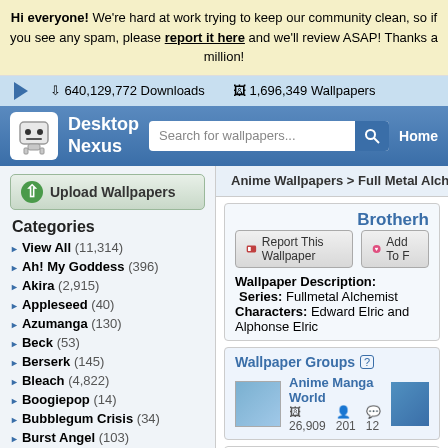Hi everyone! We're hard at work trying to keep our community clean, so if you see any spam, please report it here and we'll review ASAP! Thanks a million!
640,129,772 Downloads   1,696,349 Wallpapers
[Figure (logo): Desktop Nexus logo with robot mascot icon, search bar, and Home navigation link]
Upload Wallpapers
Categories
View All (11,314)
Ah! My Goddess (396)
Akira (2,915)
Appleseed (40)
Azumanga (130)
Beck (53)
Berserk (145)
Bleach (4,822)
Boogiepop (14)
Bubblegum Crisis (34)
Burst Angel (103)
Card Captor Sakura (736)
Chobits (406)
Chrono Crusade (61)
Anime Wallpapers > Full Metal Alchemist
Brotherhood
Report This Wallpaper   Add To Favorites
Wallpaper Description:
Series: Fullmetal Alchemist
Characters: Edward Elric and Alphonse Elric
Wallpaper Groups
Anime Manga World
26,909 images  201 members  12 comments
Leave a comment...